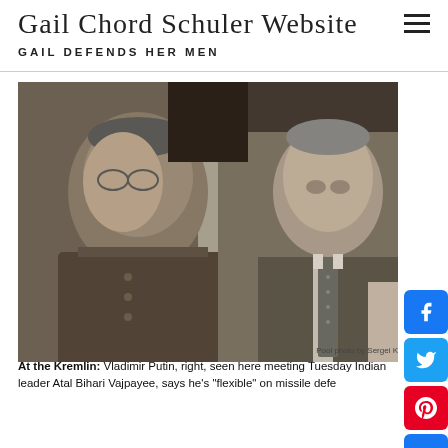Gail Chord Schuler Website — GAIL DEFENDS HER MEN
[Figure (photo): Black and white newspaper photo of two men in conversation. On the left is Indian leader Atal Bihari Vajpayee, an older man in traditional Indian attire. On the right is Vladimir Putin, a younger man in a suit and tie. They appear to be at the Kremlin.]
Pool photo by Sergei K
At the Kremlin: Vladimir Putin, right, seen here meeting Tuesday Indian leader Atal Bihari Vajpayee, says he's "flexible" on missile defe